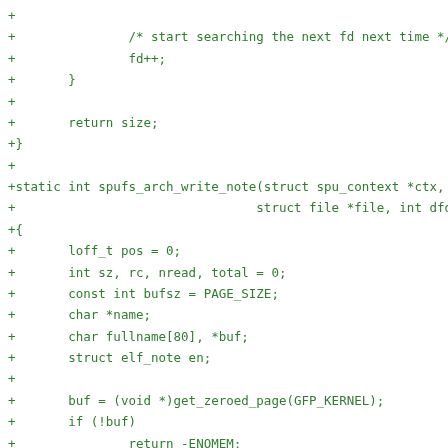+
+               /* start searching the next fd next time */
+               fd++;
+       }
+
+       return size;
+}
+
+static int spufs_arch_write_note(struct spu_context *ctx, in
+                                struct file *file, int dfd,
+{
+       loff_t pos = 0;
+       int sz, rc, nread, total = 0;
+       const int bufsz = PAGE_SIZE;
+       char *name;
+       char fullname[80], *buf;
+       struct elf_note en;
+
+       buf = (void *)get_zeroed_page(GFP_KERNEL);
+       if (!buf)
+               return -ENOMEM;
+
+       name = spufs_coredump_read[i].name;
+       sz = spufs_coredump_read[i].size;
+